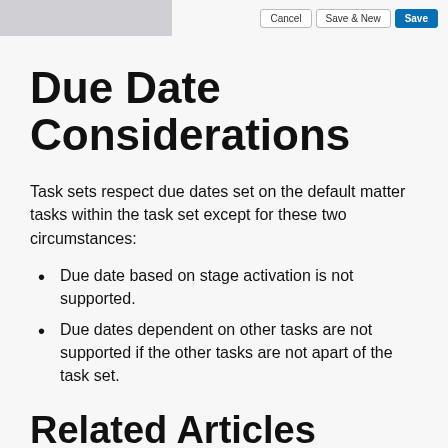[Figure (screenshot): Top navigation bar with a gray placeholder image on the left and Cancel, Save & New, Save buttons on the right]
Due Date Considerations
Task sets respect due dates set on the default matter tasks within the task set except for these two circumstances:
Due date based on stage activation is not supported.
Due dates dependent on other tasks are not supported if the other tasks are not apart of the task set.
Related Articles